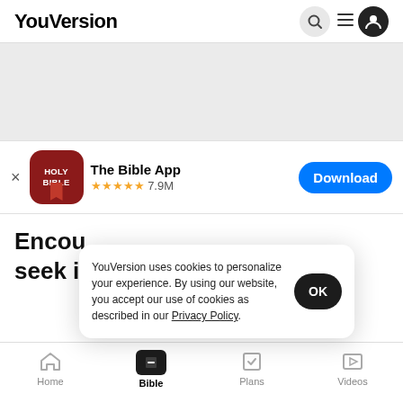YouVersion
[Figure (screenshot): YouVersion website navigation bar with search icon and user menu icon]
[Figure (screenshot): Gray banner advertisement area]
[Figure (screenshot): The Bible App promo bar with app icon, rating 7.9M stars, and Download button]
Encou
seek i
YouVersion uses cookies to personalize your experience. By using our website, you accept our use of cookies as described in our Privacy Policy.
[Figure (screenshot): Bottom navigation bar with Home, Bible (active), Plans, Videos tabs]